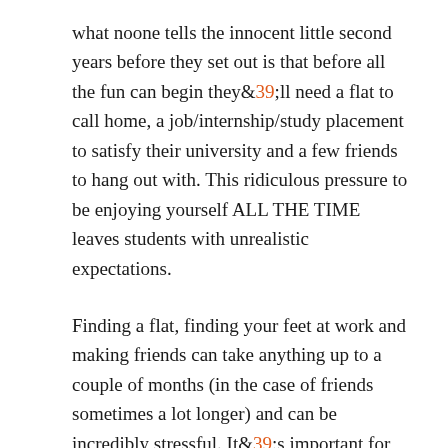what noone tells the innocent little second years before they set out is that before all the fun can begin they&#39;ll need a flat to call home, a job/internship/study placement to satisfy their university and a few friends to hang out with. This ridiculous pressure to be enjoying yourself ALL THE TIME leaves students with unrealistic expectations.
Finding a flat, finding your feet at work and making friends can take anything up to a couple of months (in the case of friends sometimes a lot longer) and can be incredibly stressful. It&#39;s important for everyone to understand that, as well as having the potential for being a truly great experience, a year abroad is also often the hardest thing that any student will do during their degree.